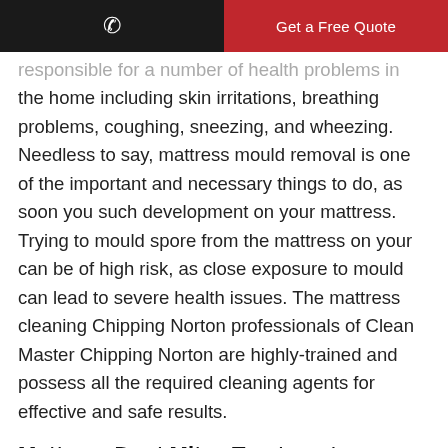Get a Free Quote
responsible for a number of health problems in the home including skin irritations, breathing problems, coughing, sneezing, and wheezing. Needless to say, mattress mould removal is one of the important and necessary things to do, as soon you such development on your mattress. Trying to mould spore from the mattress on your can be of high risk, as close exposure to mould can lead to severe health issues. The mattress cleaning Chipping Norton professionals of Clean Master Chipping Norton are highly-trained and possess all the required cleaning agents for effective and safe results.
Mattress Dust Mites Treatment Chipping Norton